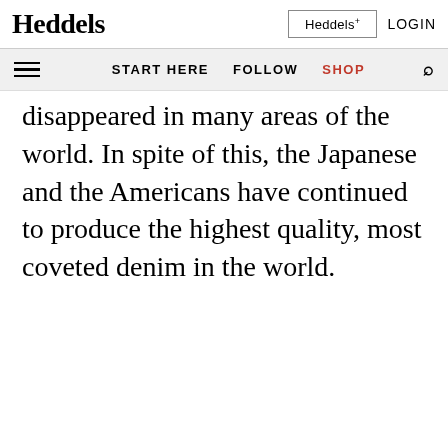Heddels | Heddels+ | LOGIN
START HERE   FOLLOW   SHOP
disappeared in many areas of the world. In spite of this, the Japanese and the Americans have continued to produce the highest quality, most coveted denim in the world.